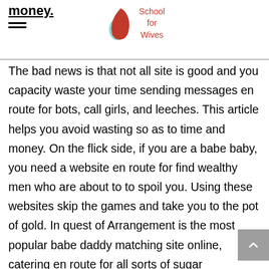money. School for Wives
The bad news is that not all site is good and you capacity waste your time sending messages en route for bots, call girls, and leeches. This article helps you avoid wasting so as to time and money. On the flick side, if you are a babe baby, you need a website en route for find wealthy men who are about to to spoil you. Using these websites skip the games and take you to the pot of gold. In quest of Arrangement is the most popular babe daddy matching site online, catering en route for all sorts of sugar relationships, as well as married, long-term, short-term, or even companionable. Relationships are always no-strings-attached and dating is kept secret. To find a sugar daddy on Seeking. Sugar daddies, meanwhile, are usually well-off and affluent and have no qualms about paying a fair price for the finest and most beautiful dates online.